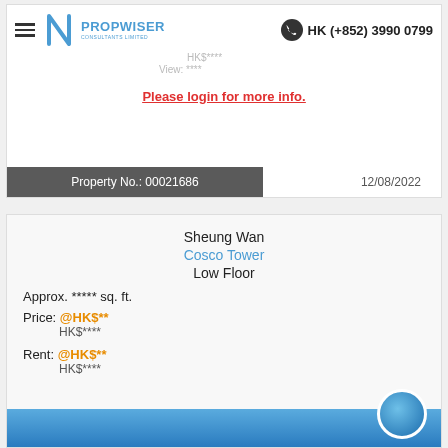HK (+852) 3990 0799
HK$**** View: ****
Please login for more info.
Property No.: 00021686
12/08/2022
Sheung Wan
Cosco Tower
Low Floor
Approx. ***** sq. ft.
Price: @HK$**
HK$****
Rent: @HK$**
HK$****